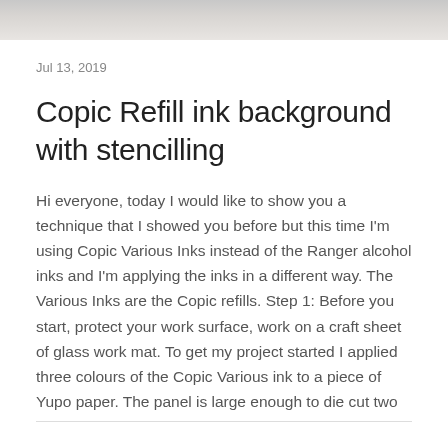[Figure (photo): Partial image at top of page showing a marble or stone texture in gray tones]
Jul 13, 2019
Copic Refill ink background with stencilling
Hi everyone, today I would like to show you a technique that I showed you before but this time I'm using Copic Various Inks instead of the Ranger alcohol inks and I'm applying the inks in a different way. The Various Inks are the Copic refills. Step 1: Before you start, protect your work surface, work on a craft sheet of glass work mat. To get my project started I applied three colours of the Copic Various ink to a piece of Yupo paper. The panel is large enough to die cut two